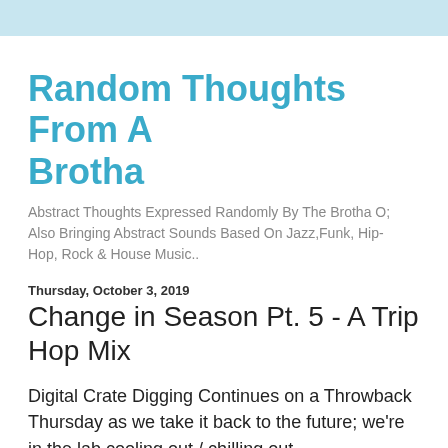Random Thoughts From A Brotha
Abstract Thoughts Expressed Randomly By The Brotha O; Also Bringing Abstract Sounds Based On Jazz,Funk, Hip-Hop, Rock & House Music..
Thursday, October 3, 2019
Change in Season Pt. 5 - A Trip Hop Mix
Digital Crate Digging Continues on a Throwback Thursday as we take it back to the future; we're in the lab cooling out / chilling out..